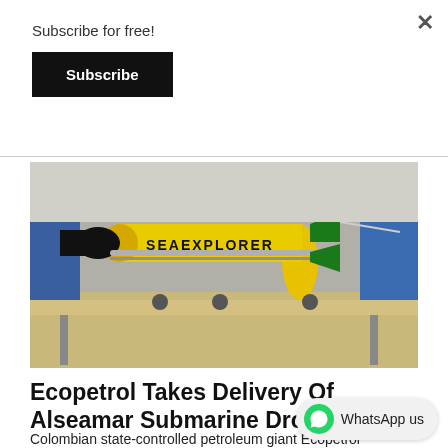Subscribe for free!
Subscribe
[Figure (photo): A yellow torpedo-shaped underwater drone labeled 'SEAEXPLORER' resting on a wheeled metal stand on a table in an indoor setting.]
Ecopetrol Takes Delivery Of Alseamar Submarine Drones
Colombian state-controlled petroleum giant Ecopetrol